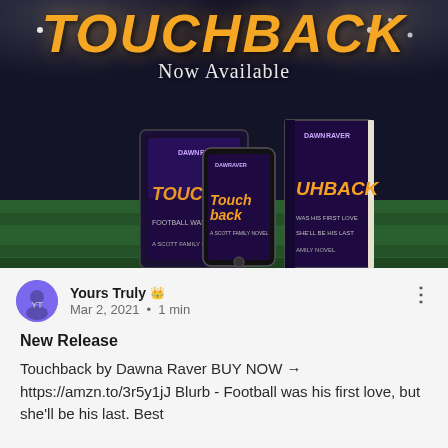[Figure (photo): Book promotional image for 'Touchback' by Dawna Raver showing three book formats (tablet ebook, phone/ebook, print book) against a dark stadium background with green grass. Orange stylized 'TOUCHBACK' title at top, 'Now Available' subtitle below it.]
Yours Truly 👑
Mar 2, 2021 • 1 min
New Release
Touchback by Dawna Raver BUY NOW → https://amzn.to/3r5y1jJ Blurb - Football was his first love, but she'll be his last. Best